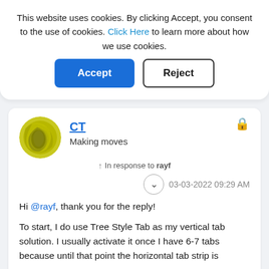This website uses cookies. By clicking Accept, you consent to the use of cookies. Click Here to learn more about how we use cookies.
Accept
Reject
[Figure (illustration): Circular user avatar with yellowish-green abstract design]
CT
Making moves
In response to rayf
03-03-2022 09:29 AM
Hi @rayf, thank you for the reply!

To start, I do use Tree Style Tab as my vertical tab solution. I usually activate it once I have 6-7 tabs because until that point the horizontal tab strip is